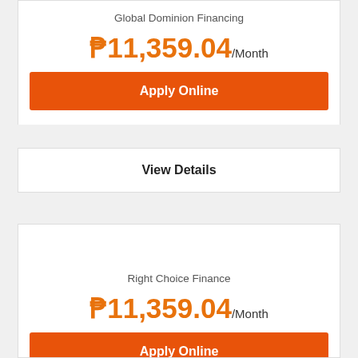Global Dominion Financing
₱11,359.04/Month
Apply Online
View Details
Right Choice Finance
₱11,359.04/Month
Apply Online